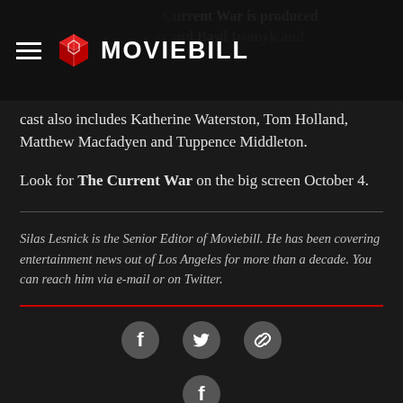MOVIEBILL
and the Dying Girl, The Current War is produced by Timur Bekmambetov and Basil Iwanyk and executive produced by … The film's cast also includes Katherine Waterston, Tom Holland, Matthew Macfadyen and Tuppence Middleton.
Look for The Current War on the big screen October 4.
Silas Lesnick is the Senior Editor of Moviebill. He has been covering entertainment news out of Los Angeles for more than a decade. You can reach him via e-mail or on Twitter.
[Figure (other): Social share icons: Facebook, Twitter, and link/share icon circles]
[Figure (other): Facebook icon circle at bottom]